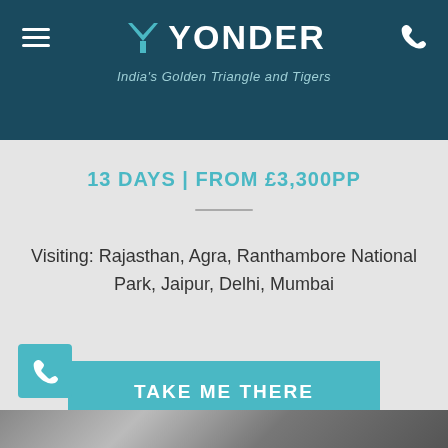YONDER — India's Golden Triangle and Tigers
13 DAYS | FROM £3,300PP
Visiting: Rajasthan, Agra, Ranthambore National Park, Jaipur, Delhi, Mumbai
TAKE ME THERE
[Figure (photo): Partial bottom photo strip, showing what appears to be a travel destination scene]